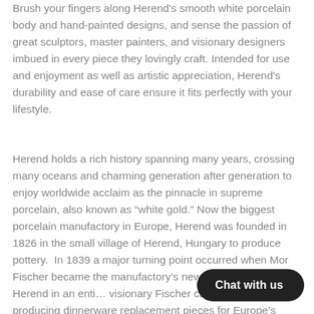Brush your fingers along Herend's smooth white porcelain body and hand-painted designs, and sense the passion of great sculptors, master painters, and visionary designers imbued in every piece they lovingly craft. Intended for use and enjoyment as well as artistic appreciation, Herend's durability and ease of care ensure it fits perfectly with your lifestyle.
Herend holds a rich history spanning many years, crossing many oceans and charming generation after generation to enjoy worldwide acclaim as the pinnacle in supreme porcelain, also known as “white gold.” Now the biggest porcelain manufactory in Europe, Herend was founded in 1826 in the small village of Herend, Hungary to produce pottery.  In 1839 a major turning point occurred when Mor Fischer became the manufactory’s new owner. Taking Herend in an enti… visionary Fischer carved out the uniq… producing dinnerware replacement pieces for Europe’s
Chat with us